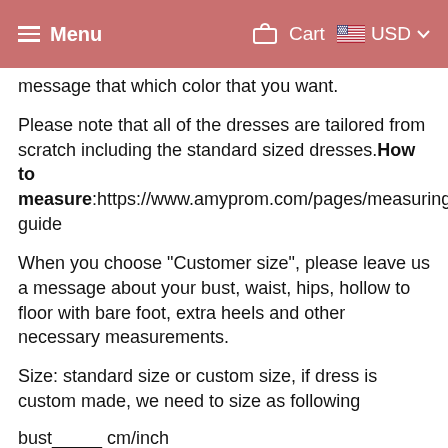Menu  Cart  USD
message that which color that you want.
Please note that all of the dresses are tailored from scratch including the standard sized dresses.How to measure:https://www.amyprom.com/pages/measuring-guide
When you choose "Customer size", please leave us a message about your bust, waist, hips, hollow to floor with bare foot, extra heels and other necessary measurements.
Size: standard size or custom size, if dress is custom made, we need to size as following
bust_____ cm/inch
waist_____cm/inch
hip:_____cm/inch
hollow to floor with bare foot:_____ cm/inch